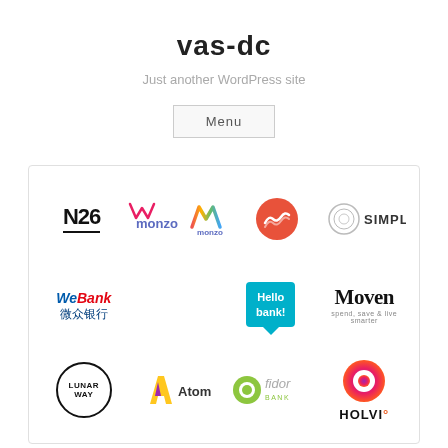vas-dc
Just another WordPress site
Menu
[Figure (logo): Grid of digital banking logos: N26, Monzo, Moven (unnamed circle logo), Simple, WeBank (微众银行), Hello bank!, Moven, Lunar Way, Atom, Fidor Bank, Holvi]